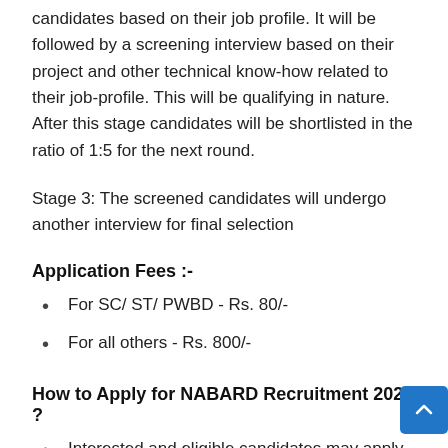candidates based on their job profile. It will be followed by a screening interview based on their project and other technical know-how related to their job-profile. This will be qualifying in nature. After this stage candidates will be shortlisted in the ratio of 1:5 for the next round.
Stage 3: The screened candidates will undergo another interview for final selection
Application Fees :-
For SC/ ST/ PWBD - Rs. 80/-
For all others - Rs. 800/-
How to Apply for NABARD Recruitment 2022 ?
Interested and eligible candidates may apply online through official website.